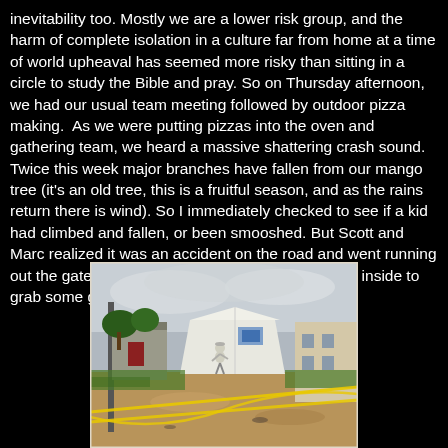inevitability too. Mostly we are a lower risk group, and the harm of complete isolation in a culture far from home at a time of world upheaval has seemed more risky than sitting in a circle to study the Bible and pray. So on Thursday afternoon, we had our usual team meeting followed by outdoor pizza making.  As we were putting pizzas into the oven and gathering team, we heard a massive shattering crash sound. Twice this week major branches have fallen from our mango tree (it's an old tree, this is a fruitful season, and as the rains return there is wind). So I immediately checked to see if a kid had climbed and fallen, or been smooshed. But Scott and Marc realized it was an accident on the road and went running out the gate. I was a few feet behind after stopping inside to grab some gloves.
[Figure (photo): Outdoor scene showing a dirt road or compound area with yellow caution tape stretched across the foreground. A person in light clothing walks toward a large white tent structure in the background. Buildings are visible on the left and right sides, with trees and grass. The sky is overcast.]